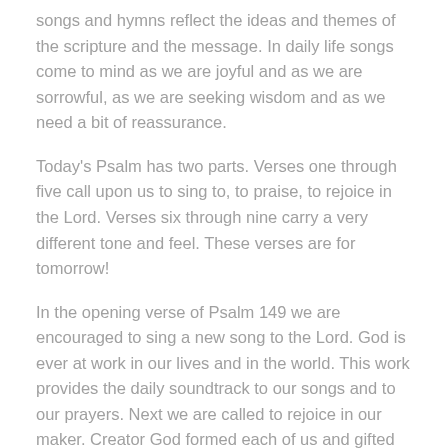songs and hymns reflect the ideas and themes of the scripture and the message. In daily life songs come to mind as we are joyful and as we are sorrowful, as we are seeking wisdom and as we need a bit of reassurance.
Today's Psalm has two parts. Verses one through five call upon us to sing to, to praise, to rejoice in the Lord. Verses six through nine carry a very different tone and feel. These verses are for tomorrow!
In the opening verse of Psalm 149 we are encouraged to sing a new song to the Lord. God is ever at work in our lives and in the world. This work provides the daily soundtrack to our songs and to our prayers. Next we are called to rejoice in our maker. Creator God formed each of us and gifted each of us for his purposes in the world. We can rejoice in how we are uniquely and wonderfully made. Yet we are also created in his image. This is also certainly a cause for rejoicing!